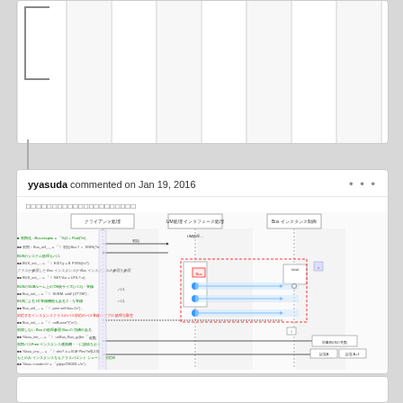[Figure (other): Top portion of a GitHub-style comment card showing vertical piano-key/column layout, partially visible]
yyasuda commented on Jan 19, 2016
□□□□□□□□□□□□□□□□□□□□□ (Japanese text header)
[Figure (engineering-diagram): UML sequence diagram with Japanese annotations in green and black text, showing interactions between components labeled in Japanese. Contains blue circle markers on sequence lines, red dashed boxes, and arrows between swimlane columns.]
[Figure (other): Bottom partial card, partially visible]